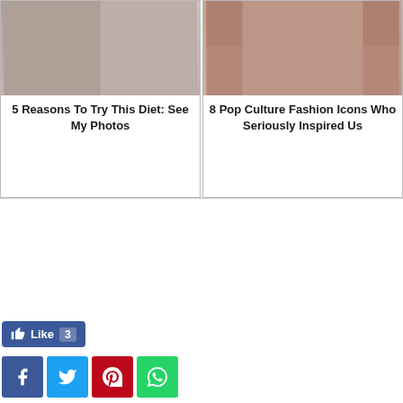[Figure (photo): Two article cards side by side. Left: photo collage of a person, title '5 Reasons To Try This Diet: See My Photos'. Right: photo of a woman in sparkly top, title '8 Pop Culture Fashion Icons Who Seriously Inspired Us'.]
5 Reasons To Try This Diet: See My Photos
8 Pop Culture Fashion Icons Who Seriously Inspired Us
[Figure (infographic): Facebook Like button showing 'Like 3' in blue]
[Figure (infographic): Social share buttons: Facebook (dark blue), Twitter (light blue), Pinterest (red), WhatsApp (green)]
[Figure (infographic): Bottom share bar: Facebook, Twitter, Pinterest, LinkedIn share buttons, with '0 SHARES' counter]